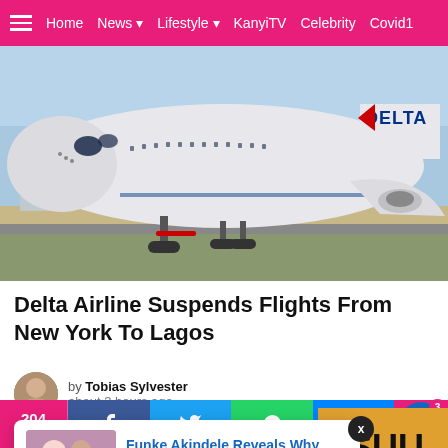Home  News  Lifestyle  KanyiTV  Celebrity  Covid1
[Figure (photo): Delta Airlines aircraft on runway, front view showing nose, Delta logo on tail, landing gear visible]
Delta Airline Suspends Flights From New York To Lagos
by Tobias Sylvester about 3 hours ago
[Figure (photo): Popup notification showing Funke Akindele with text 'Funke Akindele Reveals Why She Fell Under' and '4 minutes ago']
[Figure (photo): ASUU strike related image with orange background and text 'ASUU TR']
204 Shares  Facebook  Twitter  WhatsApp  Messenger